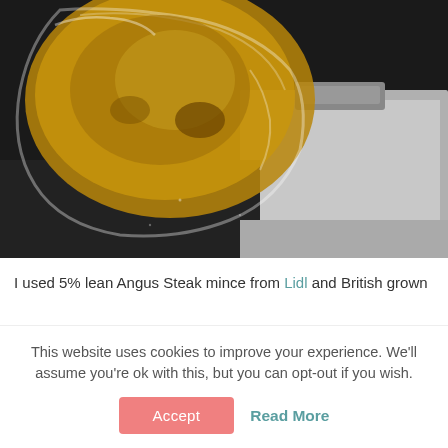[Figure (photo): Close-up photo of a bag or package of meat (Angus steak mince) on a dark surface, with a metallic tray or scale visible in the background. The packaging is clear/transparent showing the golden-brown colored meat.]
I used 5% lean Angus Steak mince from Lidl and British grown
This website uses cookies to improve your experience. We'll assume you're ok with this, but you can opt-out if you wish.